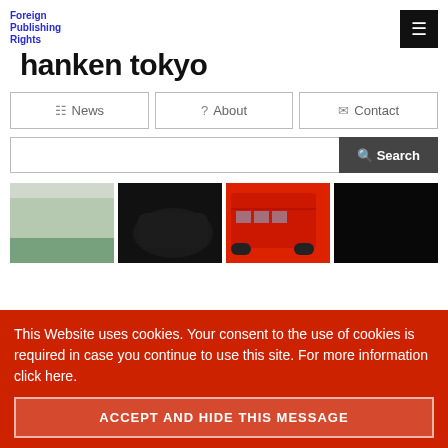Foreign Publishing Rights
hanken tokyo
News  About  Contact
Search
[Figure (photo): Two side-by-side photo pairs: left pair shows a wall/graffiti scene and a dark car photo; right pair shows a red double-decker bus and a dark/black image]
This Website uses cookies. Your consent to the use of cookies is required in case you continue to use this site. For more information click here.
ACCEPT AND HIDE THIS MESSAGE